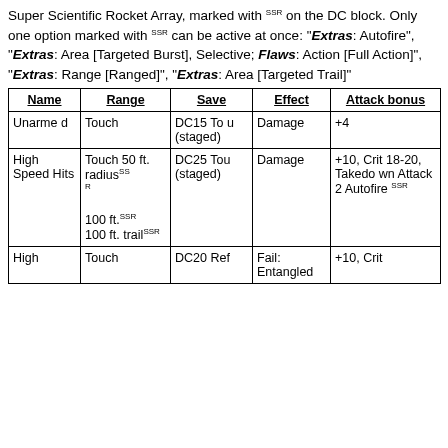Super Scientific Rocket Array, marked with SSR on the DC block. Only one option marked with SSR can be active at once: "Extras: Autofire", "Extras: Area [Targeted Burst], Selective; Flaws: Action [Full Action]", "Extras: Range [Ranged]", "Extras: Area [Targeted Trail]"
| Name | Range | Save | Effect | Attack bonus |
| --- | --- | --- | --- | --- |
| Unarmed | Touch | DC15 Tou (staged) | Damage | +4 |
| High Speed Hits | Touch 50 ft. radiusSSR
100 ft.SSR
100 ft. trailSSR | DC25 Tou (staged) | Damage | +10, Crit 18-20, Takedown Attack 2 Autofire SSR |
| High | Touch | DC20 Ref | Fail: Entangled | +10, Crit |